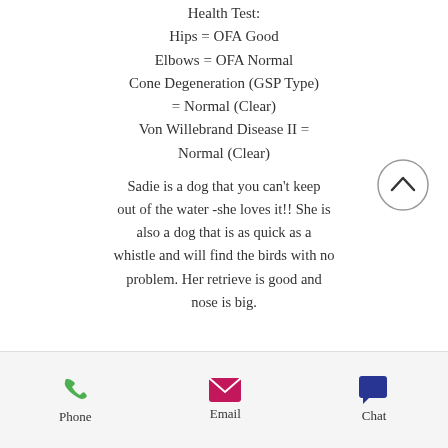Health Test:
Hips = OFA Good
Elbows = OFA Normal
Cone Degeneration (GSP Type) = Normal (Clear)
Von Willebrand Disease II = Normal (Clear)
Sadie is a dog that you can't keep out of the water -she loves it!! She is also a dog that is as quick as a whistle and will find the birds with no problem. Her retrieve is good and nose is big.
Phone   Email   Chat